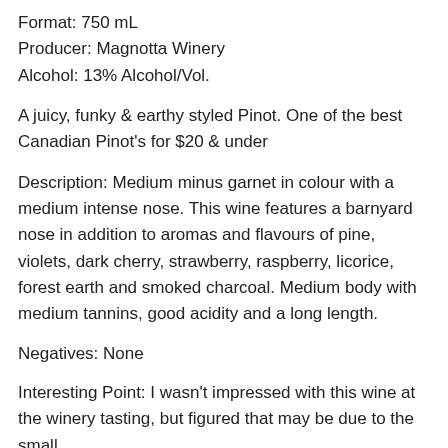Format: 750 mL
Producer: Magnotta Winery
Alcohol: 13% Alcohol/Vol.
A juicy, funky & earthy styled Pinot. One of the best Canadian Pinot's for $20 & under
Description: Medium minus garnet in colour with a medium intense nose. This wine features a barnyard nose in addition to aromas and flavours of pine, violets, dark cherry, strawberry, raspberry, licorice, forest earth and smoked charcoal. Medium body with medium tannins, good acidity and a long length.
Negatives: None
Interesting Point: I wasn't impressed with this wine at the winery tasting, but figured that may be due to the small